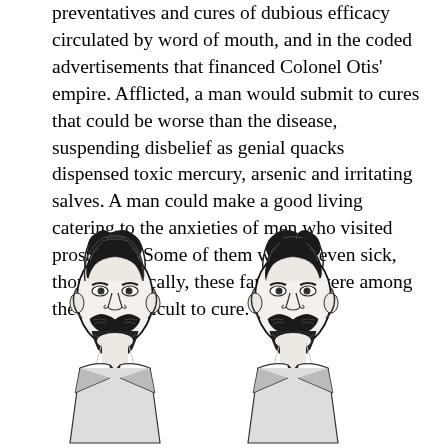preventatives and cures of dubious efficacy circulated by word of mouth, and in the coded advertisements that financed Colonel Otis' empire. Afflicted, a man would submit to cures that could be worse than the disease, suspending disbelief as genial quacks dispensed toxic mercury, arsenic and irritating salves. A man could make a good living catering to the anxieties of men who visited prostitutes. Some of them weren't even sick, though ironically, these fantasists were among the most difficult to cure.
[Figure (illustration): Two identical black-and-white portrait illustrations of a Victorian-era man with a large walrus mustache, beard, and wearing a suit with a tie. The portraits are mirrored side by side, showing the same mustachioed gentleman facing slightly inward toward each other.]